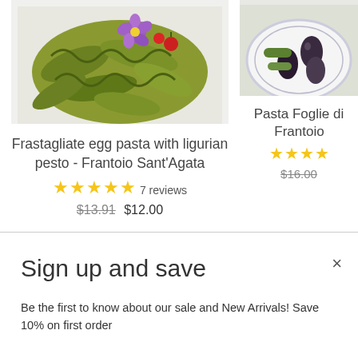[Figure (photo): Food photo of green frastagliate egg pasta with purple flower and cherry tomatoes on white background]
Frastagliate egg pasta with ligurian pesto - Frantoio Sant'Agata
★★★★★ 7 reviews
$13.91  $12.00
[Figure (photo): Food photo showing pasta foglie dish with olives and vegetables on a plate]
Pasta Foglie di Frantoio
★★★
$16.00
Sign up and save
Be the first to know about our sale and New Arrivals! Save 10% on first order
Enter your email